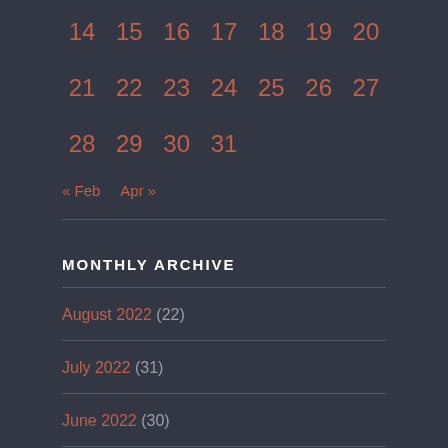| 14 | 15 | 16 | 17 | 18 | 19 | 20 |
| 21 | 22 | 23 | 24 | 25 | 26 | 27 |
| 28 | 29 | 30 | 31 |  |  |  |
« Feb  Apr »
MONTHLY ARCHIVE
August 2022 (22)
July 2022 (31)
June 2022 (30)
May 2022 (31)